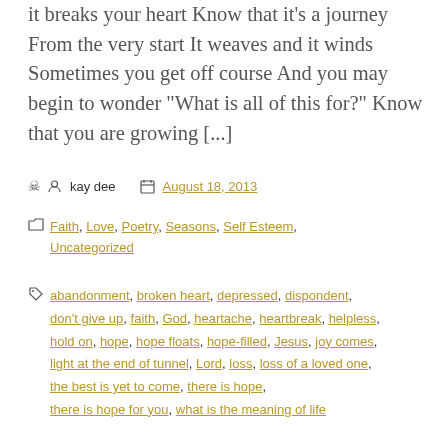it breaks your heart Know that it's a journey From the very start It weaves and it winds Sometimes you get off course And you may begin to wonder “What is all of this for?” Know that you are growing [...]
kay dee  August 18, 2013
Faith, Love, Poetry, Seasons, Self Esteem, Uncategorized
abandonment, broken heart, depressed, dispondent, don't give up, faith, God, heartache, heartbreak, helpless, hold on, hope, hope floats, hope-filled, Jesus, joy comes, light at the end of tunnel, Lord, loss, loss of a loved one, the best is yet to come, there is hope, there is hope for you, what is the meaning of life